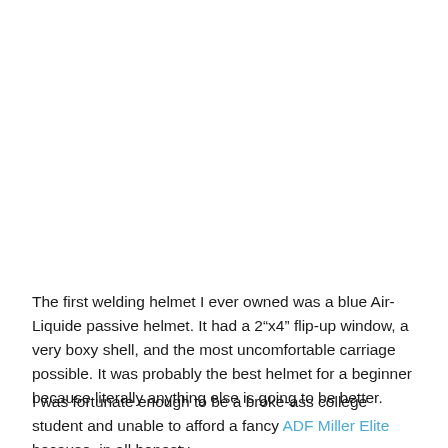The first welding helmet I ever owned was a blue Air-Liquide passive helmet. It had a 2"x4" flip-up window, a very boxy shell, and the most uncomfortable carriage possible. It was probably the best helmet for a beginner because literally anything else is going to be better.
I was fortunate enough to be a broke-ass college student and unable to afford a fancy ADF Miller Elite because, in all honesty,